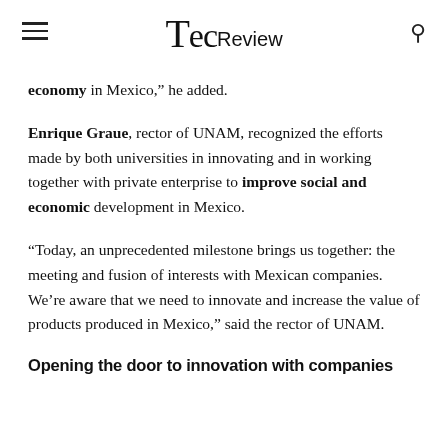Tec Review
economy in Mexico,” he added.
Enrique Graue, rector of UNAM, recognized the efforts made by both universities in innovating and in working together with private enterprise to improve social and economic development in Mexico.
“Today, an unprecedented milestone brings us together: the meeting and fusion of interests with Mexican companies. We’re aware that we need to innovate and increase the value of products produced in Mexico,” said the rector of UNAM.
Opening the door to innovation with companies